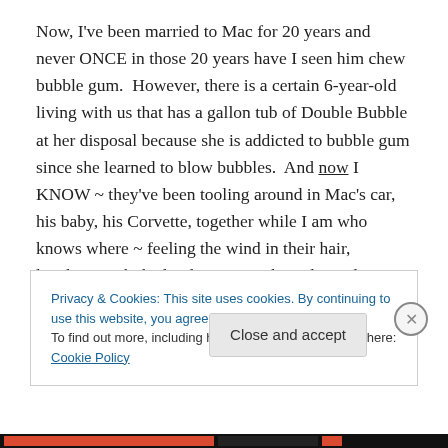Now, I've been married to Mac for 20 years and never ONCE in those 20 years have I seen him chew bubble gum. However, there is a certain 6-year-old living with us that has a gallon tub of Double Bubble at her disposal because she is addicted to bubble gum since she learned to blow bubbles. And now I KNOW ~ they've been tooling around in Mac's car, his baby, his Corvette, together while I am who knows where ~ feeling the wind in their hair, laughing with the loud music on the radio and going too fast for my comfort.
Privacy & Cookies: This site uses cookies. By continuing to use this website, you agree to their use. To find out more, including how to control cookies, see here: Cookie Policy
Close and accept